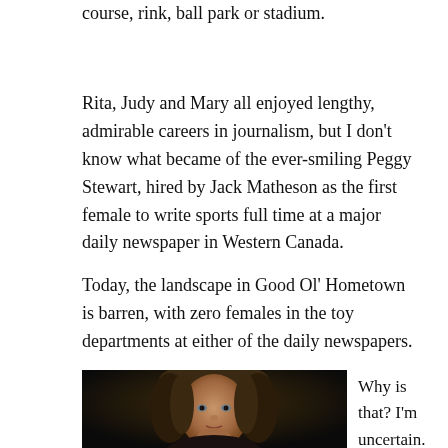course, rink, ball park or stadium.
Rita, Judy and Mary all enjoyed lengthy, admirable careers in journalism, but I don't know what became of the ever-smiling Peggy Stewart, hired by Jack Matheson as the first female to write sports full time at a major daily newspaper in Western Canada.
Today, the landscape in Good Ol' Hometown is barren, with zero females in the toy departments at either of the daily newspapers.
[Figure (photo): Portrait photo of a woman with long hair against a dark background]
Why is that? I'm uncertain. It could be that the rag